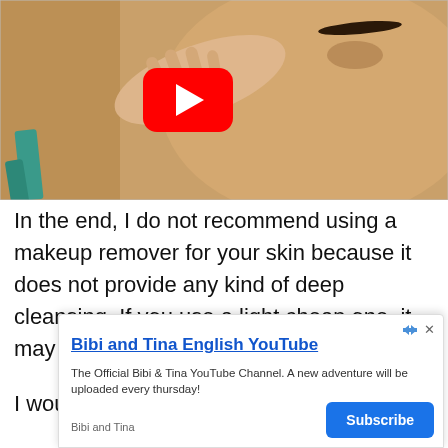[Figure (photo): A woman applying makeup near her eye with fingers, wearing a teal strap top, with a YouTube play button overlay in the center]
In the end, I do not recommend using a makeup remover for your skin because it does not provide any kind of deep cleansing. If you use a light cheap one, it may dry out or irritate your skin.
I would stick with an exfoliater and face wash
[Figure (screenshot): Advertisement banner for Bibi and Tina English YouTube channel with Subscribe button. Text reads: 'Bibi and Tina English YouTube' (title), 'The Official Bibi & Tina YouTube Channel. A new adventure will be uploaded every thursday!' (description), 'Bibi and Tina' (source), 'Subscribe' (button)]